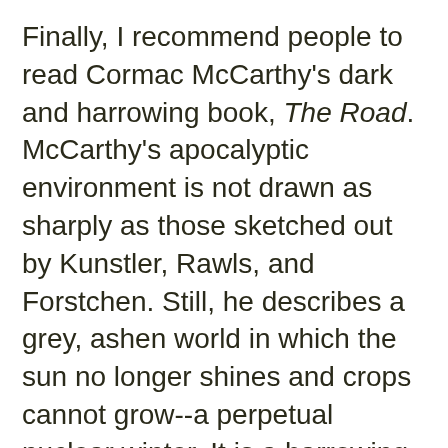Finally, I recommend people to read Cormac McCarthy's dark and harrowing book, The Road.  McCarthy's apocalyptic environment is not drawn as sharply as those sketched out by Kunstler, Rawls, and Forstchen. Still, he describes a grey, ashen world in which the sun no longer shines and crops cannot grow--a perpetual nuclear winter. It is a harrowing book that ends with a bare flicker of hope.
Americans should read all four of these authors because they sketch out for us- to one degree or another, America's